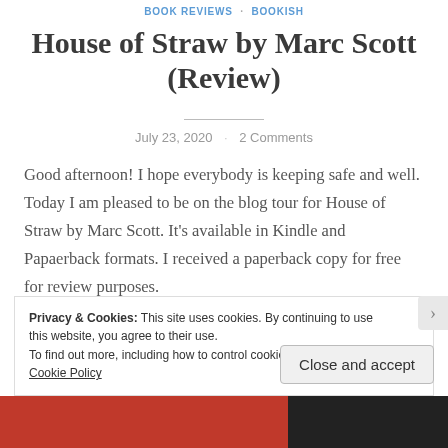BOOK REVIEWS · BOOKISH
House of Straw by Marc Scott (Review)
July 23, 2020 · 2 Comments
Good afternoon! I hope everybody is keeping safe and well. Today I am pleased to be on the blog tour for House of Straw by Marc Scott. It's available in Kindle and Papaerback formats. I received a paperback copy for free for review purposes.
Privacy & Cookies: This site uses cookies. By continuing to use this website, you agree to their use.
To find out more, including how to control cookies, see here: Cookie Policy
Close and accept